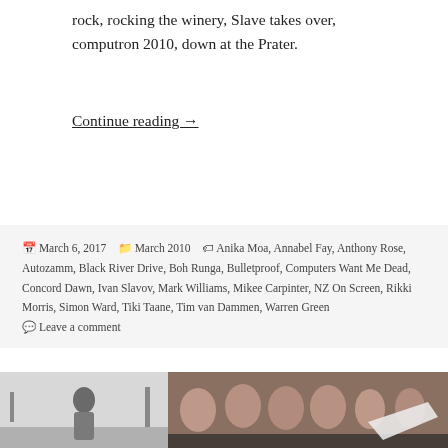rock, rocking the winery, Slave takes over, computron 2010, down at the Prater.
Continue reading →
March 6, 2017   March 2010   Anika Moa, Annabel Fay, Anthony Rose, Autozamm, Black River Drive, Boh Runga, Bulletproof, Computers Want Me Dead, Concord Dawn, Ivan Slavov, Mark Williams, Mikee Carpinter, NZ On Screen, Rikki Morris, Simon Ward, Tiki Taane, Tim van Dammen, Warren Green   Leave a comment
[Figure (photo): Black and white photo of a person standing outdoors]
[Figure (photo): Color photo of a woman looking to the side against a blue sky]
[Figure (photo): Multiple repeated image of a person playing a wind instrument]